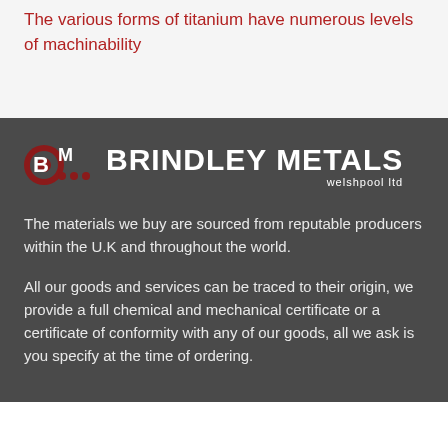The various forms of titanium have numerous levels of machinability
[Figure (logo): Brindley Metals Welshpool Ltd logo with red BM icon and white text]
The materials we buy are sourced from reputable producers within the U.K and throughout the world.
All our goods and services can be traced to their origin, we provide a full chemical and mechanical certificate or a certificate of conformity with any of our goods, all we ask is you specify at the time of ordering.